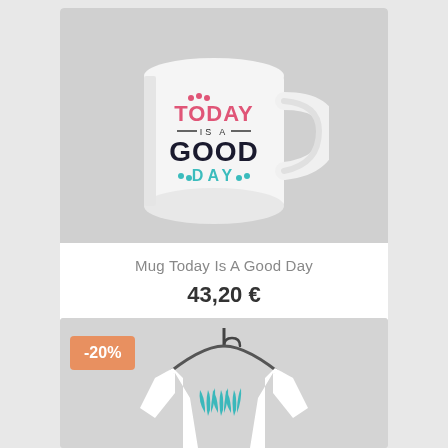[Figure (photo): White ceramic mug with 'TODAY IS A GOOD DAY' text printed on it, on a light gray background]
Mug Today Is A Good Day
43,20 €
[Figure (photo): White long-sleeve sweatshirt on a hanger with teal feather design, partially visible, with -20% discount badge]